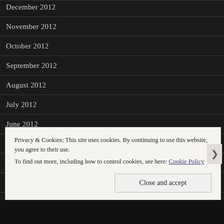December 2012
November 2012
October 2012
September 2012
August 2012
July 2012
June 2012
May 2012
April 2012
Privacy & Cookies: This site uses cookies. By continuing to use this website, you agree to their use.
To find out more, including how to control cookies, see here: Cookie Policy
Close and accept